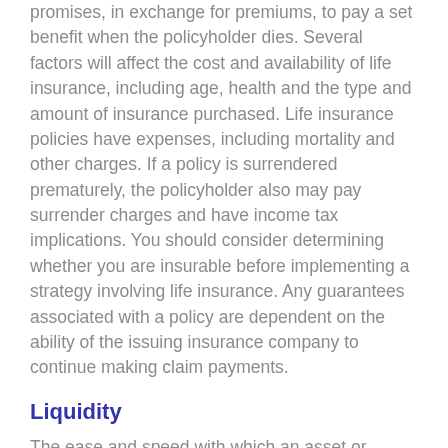promises, in exchange for premiums, to pay a set benefit when the policyholder dies. Several factors will affect the cost and availability of life insurance, including age, health and the type and amount of insurance purchased. Life insurance policies have expenses, including mortality and other charges. If a policy is surrendered prematurely, the policyholder also may pay surrender charges and have income tax implications. You should consider determining whether you are insurable before implementing a strategy involving life insurance. Any guarantees associated with a policy are dependent on the ability of the issuing insurance company to continue making claim payments.
Liquidity
The ease and speed with which an asset or security can be bought or sold.
Living Trust